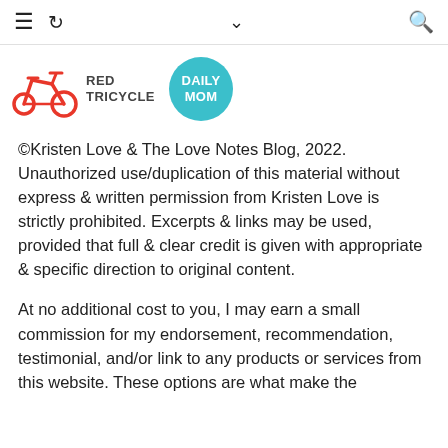≡ ↺ ∨ 🔍
[Figure (logo): Red Tricycle logo with red bicycle icon and bold text 'RED TRICYCLE', alongside a teal circular badge reading 'DAILY MOM']
©Kristen Love & The Love Notes Blog, 2022. Unauthorized use/duplication of this material without express & written permission from Kristen Love is strictly prohibited. Excerpts & links may be used, provided that full & clear credit is given with appropriate & specific direction to original content.
At no additional cost to you, I may earn a small commission for my endorsement, recommendation, testimonial, and/or link to any products or services from this website. These options are what make the